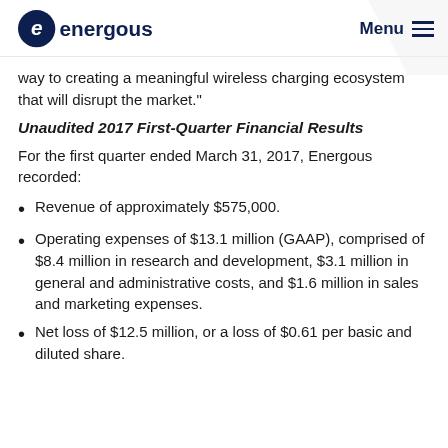Energous | Menu
way to creating a meaningful wireless charging ecosystem that will disrupt the market."
Unaudited 2017 First-Quarter Financial Results
For the first quarter ended March 31, 2017, Energous recorded:
Revenue of approximately $575,000.
Operating expenses of $13.1 million (GAAP), comprised of $8.4 million in research and development, $3.1 million in general and administrative costs, and $1.6 million in sales and marketing expenses.
Net loss of $12.5 million, or a loss of $0.61 per basic and diluted share.